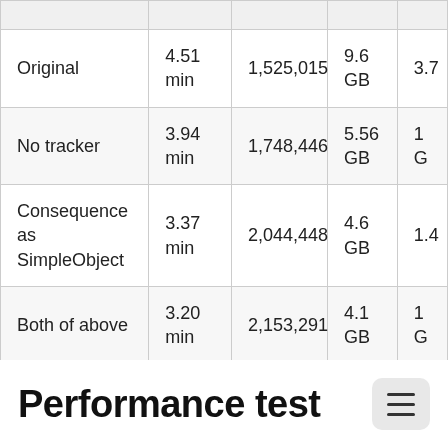|  | Time | Events | Memory |  |
| --- | --- | --- | --- | --- |
| Original | 4.51 min | 1,525,015 | 9.6 GB | 3.7 |
| No tracker | 3.94 min | 1,748,446 | 5.56 GB | 1 G |
| Consequence as SimpleObject | 3.37 min | 2,044,448 | 4.6 GB | 1.4 |
| Both of above | 3.20 min | 2,153,291 | 4.1 GB | 1 G |
Performance test